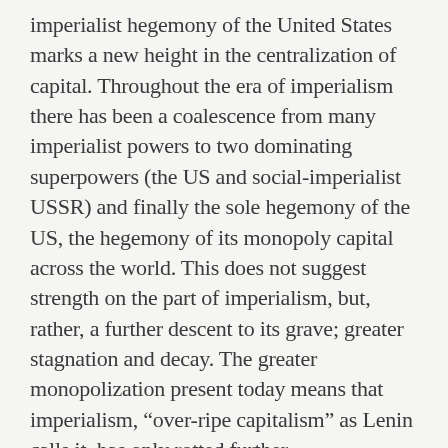imperialist hegemony of the United States marks a new height in the centralization of capital. Throughout the era of imperialism there has been a coalescence from many imperialist powers to two dominating superpowers (the US and social-imperialist USSR) and finally the sole hegemony of the US, the hegemony of its monopoly capital across the world. This does not suggest strength on the part of imperialism, but, rather, a further descent to its grave; greater stagnation and decay. The greater monopolization present today means that imperialism, “over-ripe capitalism” as Lenin calls it, has only rotted further.
Expansive foreign investment in oppressed countries, debt from those countries, the international hegemony of the US dollar—these are some of the foundations of the hegemony of US capital, but it is a